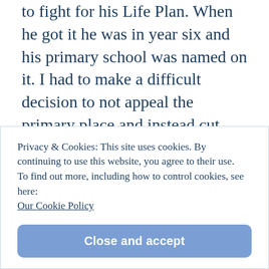to fight for his Life Plan. When he got it he was in year six and his primary school was named on it. I had to make a difficult decision to not appeal the primary place and instead cut back on work to fight with everything I had in me to get him into the specialist secondary school I thought would be best for him.

Today he started at that school. I have very mixed feelings right now. He was so brave this morning even though he was obviously very nervous. I have to take
Privacy & Cookies: This site uses cookies. By continuing to use this website, you agree to their use.
To find out more, including how to control cookies, see here: Our Cookie Policy
Close and accept